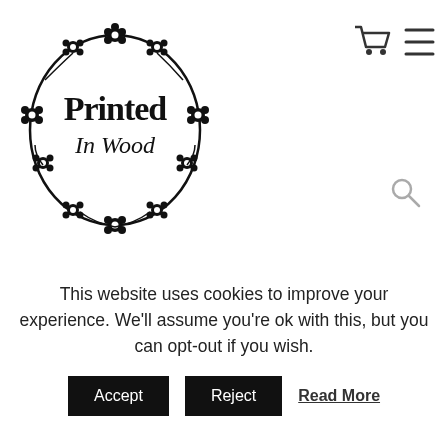[Figure (logo): Printed In Wood logo — text inside a circular floral wreath with black flowers and branches]
[Figure (screenshot): Website header icons: shopping cart and hamburger menu on right side, search icon below]
[Figure (photo): Photo display strip showing photos hung on a string with clips against a light grey background]
This website uses cookies to improve your experience. We'll assume you're ok with this, but you can opt-out if you wish.
Accept | Reject | Read More